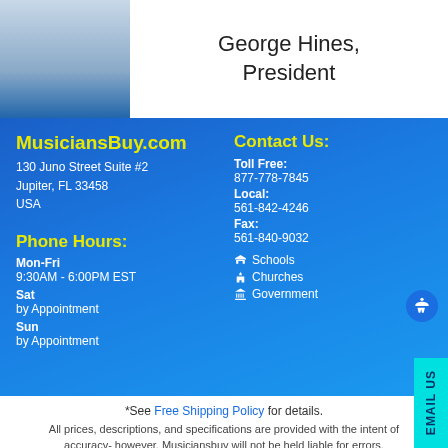[Figure (photo): Portrait photo of George Hines in a suit and tie]
George Hines, President
MusiciansBuy.com
130 Juno Street Suite #2
Jupiter, FL 33458
USA
Contact Us:
Toll Free: 877-778-7845
Local: 561-842-4246
Fax: 561-840-9032
Schools
Churches
Government
Phone Hours:
Mon-Fri
9:30AM - 6:00PM EST
Sat
by Appointment
Sun
by Appointment
*See Free Shipping Policy for details.
All prices, descriptions, and specifications are provided with the intent of accuracy- however, Musiciansbuy will not be held liable for errors,